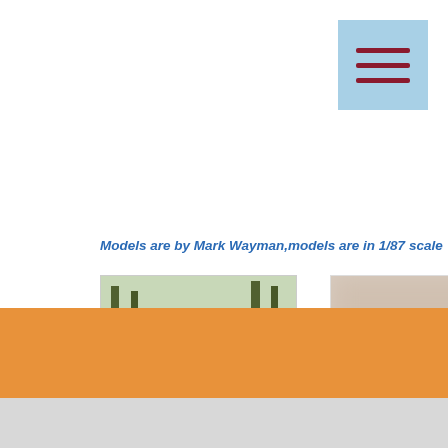[Figure (other): Hamburger menu button - light blue square with three dark red horizontal lines]
Models are by Mark Wayman,models are in 1/87 scale
[Figure (photo): A red logging truck model (1/87 scale) loaded with logs, photographed outdoors with trees in background]
[Figure (photo): A blurred close-up photograph of what appears to be a red scale model vehicle, heavily blurred]